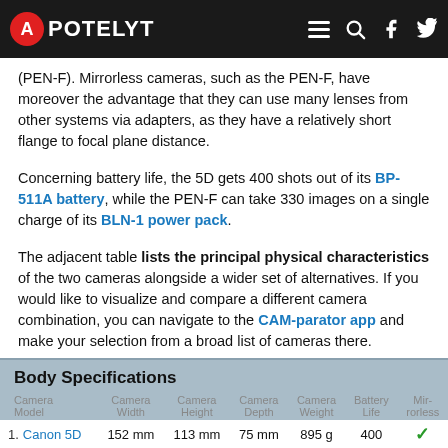APOTELYT
(PEN-F). Mirrorless cameras, such as the PEN-F, have moreover the advantage that they can use many lenses from other systems via adapters, as they have a relatively short flange to focal plane distance.
Concerning battery life, the 5D gets 400 shots out of its BP-511A battery, while the PEN-F can take 330 images on a single charge of its BLN-1 power pack.
The adjacent table lists the principal physical characteristics of the two cameras alongside a wider set of alternatives. If you would like to visualize and compare a different camera combination, you can navigate to the CAM-parator app and make your selection from a broad list of cameras there.
| Camera | Camera Width | Camera Height | Camera Depth | Camera Weight | Battery Life | Mirrorless |
| --- | --- | --- | --- | --- | --- | --- |
| 1. Canon 5D | 152 mm | 113 mm | 75 mm | 895 g | 400 | ✓ |